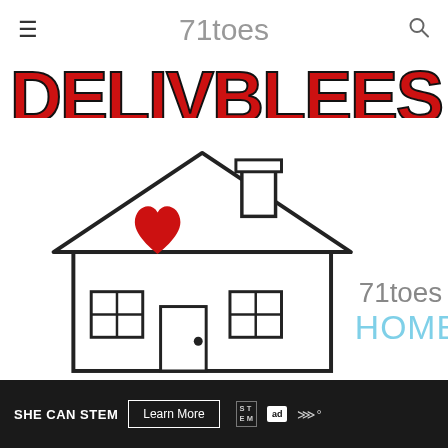71toes
[Figure (illustration): Partial cropped red bold text banner 'DELIVBRLEES' or similar large red outlined bold letters on white background]
[Figure (illustration): House outline illustration with a red heart in the center, two windows with grid panes, a door with a circular handle, and a chimney. To the right of the house: '71toes' in gray and 'HOME' in light blue text.]
SHE CAN STEM   Learn More
SHE CAN STEM  Learn More  STEM  ad  w°